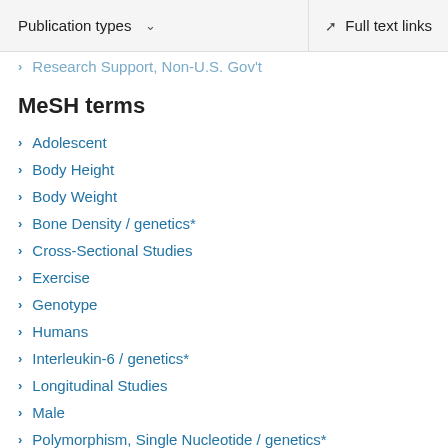Publication types   Full text links
Research Support, Non-U.S. Gov't
MeSH terms
Adolescent
Body Height
Body Weight
Bone Density / genetics*
Cross-Sectional Studies
Exercise
Genotype
Humans
Interleukin-6 / genetics*
Longitudinal Studies
Male
Polymorphism, Single Nucleotide / genetics*
Promoter Regions, Genetic / genetics